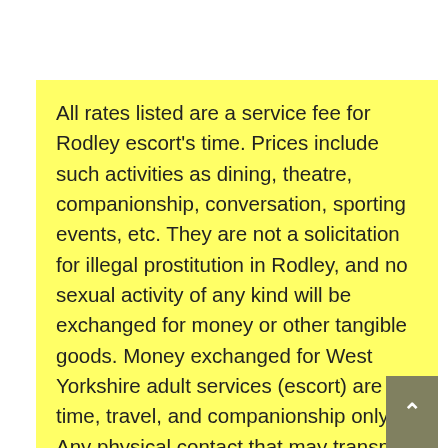All rates listed are a service fee for Rodley escort's time. Prices include such activities as dining, theatre, companionship, conversation, sporting events, etc. They are not a solicitation for illegal prostitution in Rodley, and no sexual activity of any kind will be exchanged for money or other tangible goods. Money exchanged for West Yorkshire adult services (escort) are for time, travel, and companionship only. Any physical contact that may transpire is a matter of personal choice and preference between two or more consenting adults of legal age and is not contracted for, or